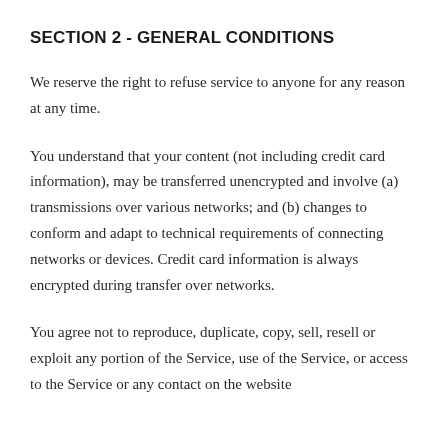SECTION 2 - GENERAL CONDITIONS
We reserve the right to refuse service to anyone for any reason at any time.
You understand that your content (not including credit card information), may be transferred unencrypted and involve (a) transmissions over various networks; and (b) changes to conform and adapt to technical requirements of connecting networks or devices. Credit card information is always encrypted during transfer over networks.
You agree not to reproduce, duplicate, copy, sell, resell or exploit any portion of the Service, use of the Service, or access to the Service or any contact on the website